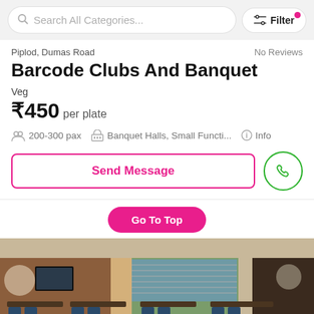Search All Categories... | Filter
Piplod, Dumas Road
No Reviews
Barcode Clubs And Banquet
Veg
₹450 per plate
200-300 pax   Banquet Halls, Small Functi...   Info
Send Message
Go To Top
[Figure (photo): Interior photo of a banquet hall / restaurant with brown walls, ambient lighting, large windows with blinds, dining tables and chairs]